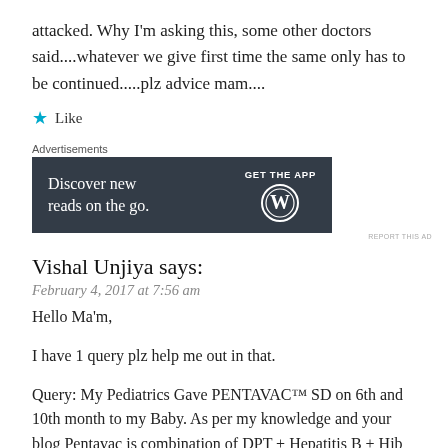attacked. Why I'm asking this, some other doctors said....whatever we give first time the same only has to be continued.....plz advice mam....
★ Like
[Figure (screenshot): Advertisement banner for WordPress app: 'Discover new reads on the go.' with GET THE APP button and WordPress logo on dark background]
Vishal Unjiya says:
February 4, 2017 at 7:56 am
Hello Ma'm,
I have 1 query plz help me out in that.
Query: My Pediatrics Gave PENTAVAC™ SD on 6th and 10th month to my Baby. As per my knowledge and your blog Pentavac is combination of DPT + Hepatitis B + Hib vaccine.